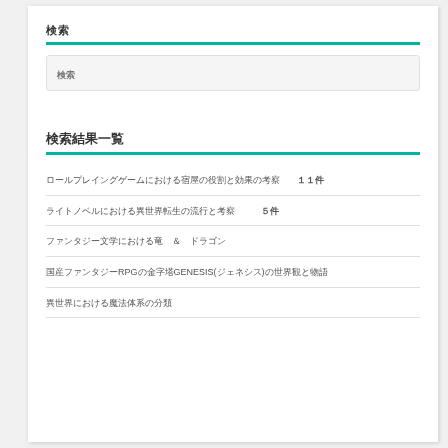検索
| 検索ワード |
| --- |
|  |
検索結果一覧
ロールプレイングゲームにおける宿屋の役割と効果の考察　11件
ライトノベルにおける異世界転生の流行と考察　5件
ファンタジー文学における竜　&　ドラゴン
国産ファンタジーRPGの金字塔GENESIS(ジェネシス)の世界観と物語
異世界における魔法体系の分類